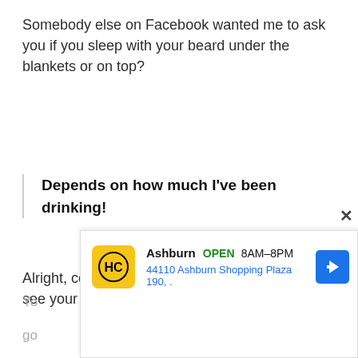Somebody else on Facebook wanted me to ask you if you sleep with your beard under the blankets or on top?
Depends on how much I've been drinking!
Alright, cool. Is there a place where people can see your tour schedule and check out your CD?
Yeah, I got a new website. It's
bennprestagemusic.com
[Figure (screenshot): Advertisement overlay showing HC logo, Ashburn location open 8AM-8PM, address 44110 Ashburn Shopping Plaza 190, with blue navigation arrow icon]